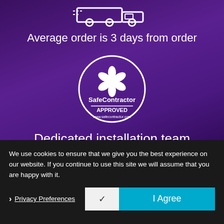[Figure (illustration): Delivery truck icon in white outline on purple background]
Average order is 3 days from order
[Figure (logo): SafeContractor APPROVED circular badge with flower/snowflake emblem in white on purple background]
Dedicated installation team
We use cookies to ensure that we give you the best experience on our website. If you continue to use this site we will assume that you are happy with it.
Privacy Preferences
✓
I Agree